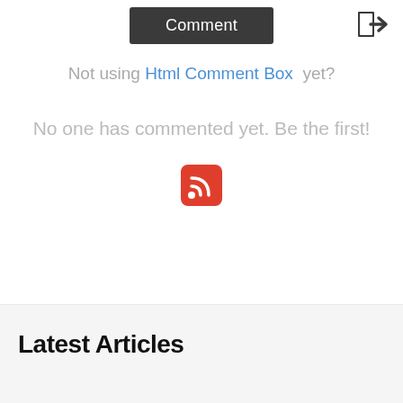[Figure (other): Comment button (dark gray button with white text) and a login/sign-in icon to the right]
Not using Html Comment Box yet?
No one has commented yet. Be the first!
[Figure (other): RSS feed icon — red rounded square with white RSS signal waves]
Latest Articles